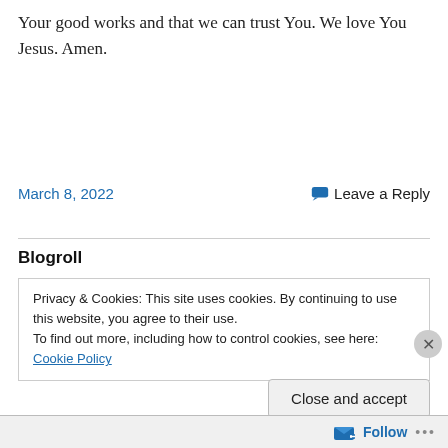Your good works and that we can trust You. We love You Jesus. Amen.
March 8, 2022   Leave a Reply
Blogroll
Privacy & Cookies: This site uses cookies. By continuing to use this website, you agree to their use.
To find out more, including how to control cookies, see here: Cookie Policy
Close and accept
Follow ...